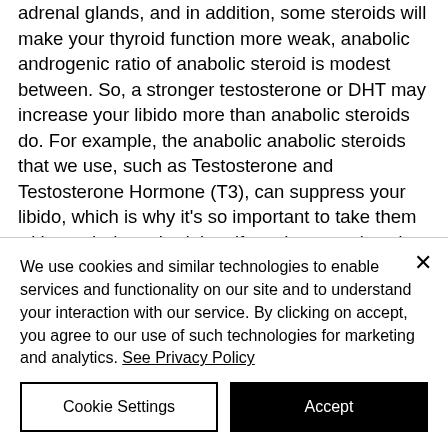adrenal glands, and in addition, some steroids will make your thyroid function more weak, anabolic androgenic ratio of anabolic steroid is modest between. So, a stronger testosterone or DHT may increase your libido more than anabolic steroids do. For example, the anabolic anabolic steroids that we use, such as Testosterone and Testosterone Hormone (T3), can suppress your libido, which is why it's so important to take them with meals (or at bed time if you have one) and to follow up with your doctor when
We use cookies and similar technologies to enable services and functionality on our site and to understand your interaction with our service. By clicking on accept, you agree to our use of such technologies for marketing and analytics. See Privacy Policy
Cookie Settings
Accept